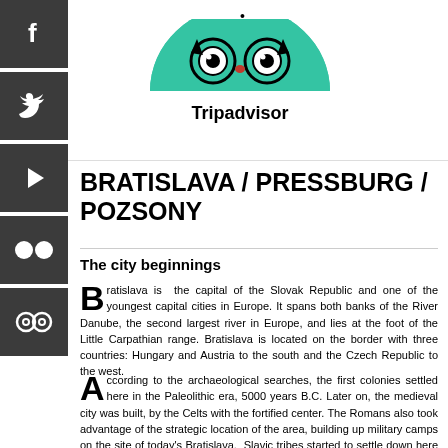[Figure (logo): Tripadvisor owl logo with green semicircle background and 'Tripadvisor' text]
BRATISLAVA / PRESSBURG / POZSONY
The city beginnings
Bratislava is the capital of the Slovak Republic and one of the youngest capital cities in Europe. It spans both banks of the River Danube, the second largest river in Europe, and lies at the foot of the Little Carpathian range. Bratislava is located on the border with three countries: Hungary and Austria to the south and the Czech Republic to the west.
According to the archaeological searches, the first colonies settled here in the Paleolithic era, 5000 years B.C. Later on, the medieval city was built, by the Celts with the fortified center. The Romans also took advantage of the strategic location of the area, building up military camps on the site of today's Bratislava. Slavic tribes started to settle down here around VI